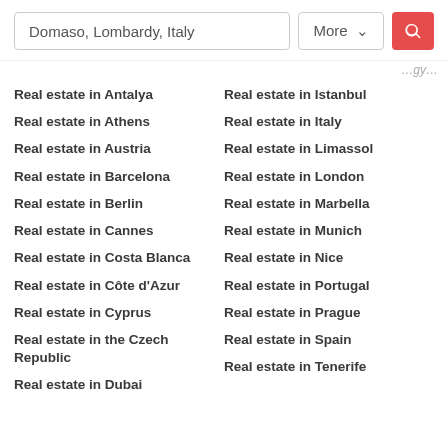[Figure (screenshot): Search bar UI with 'Domaso, Lombardy, Italy' input, 'More' dropdown button, and red search icon button]
Real estate in Antalya
Real estate in Istanbul
Real estate in Athens
Real estate in Italy
Real estate in Austria
Real estate in Limassol
Real estate in Barcelona
Real estate in London
Real estate in Berlin
Real estate in Marbella
Real estate in Cannes
Real estate in Munich
Real estate in Costa Blanca
Real estate in Nice
Real estate in Côte d'Azur
Real estate in Portugal
Real estate in Cyprus
Real estate in Prague
Real estate in the Czech Republic
Real estate in Spain
Real estate in Dubai
Real estate in Tenerife